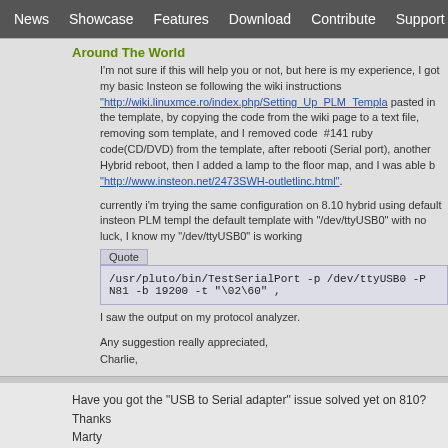News | Showcase | Features | Download | Contribute | Support
Around The World
I'm not sure if this will help you or not, but here is my experience, I got my basic Insteon se following the wiki instructions "http://wiki.linuxmce.ro/index.php/Setting_Up_PLM_Templa pasted in the template, by copying the code from the wiki page to a text file, removing som template, and I removed code #141 ruby code(CD/DVD) from the template, after rebooting (Serial port), another Hybrid reboot, then I added a lamp to the floor map, and I was able b "http://www.insteon.net/2473SWH-outletlinc.html".
currently i'm trying the same configuration on 8.10 hybrid using default insteon PLM templ the default template with "/dev/ttyUSB0" with no luck, I know my "/dev/ttyUSB0" is working
Quote
/usr/pluto/bin/TestSerialPort -p /dev/ttyUSB0 -P N81 -b 19200 -t "\02\60" ,
I saw the output on my protocol analyzer.
Any suggestion really appreciated,
Charlie,
Have you got the "USB to Serial adapter" issue solved yet on 810?
Thanks
Marty
8
Users / Re: Built New Core, Now Insteon not working - Please a…
« on: January 25, 2009, 07:32:06 pm »